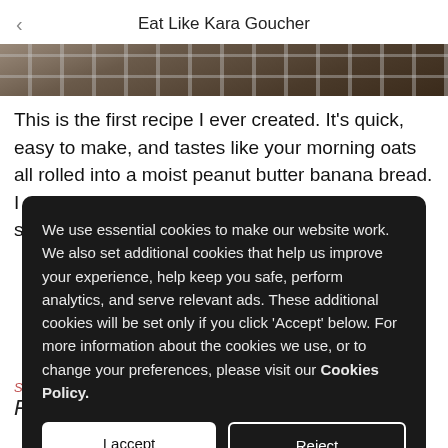Eat Like Kara Goucher
[Figure (photo): Close-up photo of a grill or waffle iron with metallic grid pattern, partially visible at the top of the page]
This is the first recipe I ever created. It's quick, easy to make, and tastes like your morning oats all rolled into a moist peanut butter banana bread. I never use added sugar – this gets all its sweetness from dates
We use essential cookies to make our website work. We also set additional cookies that help us improve your experience, help keep you safe, perform analytics, and serve relevant ads. These additional cookies will be set only if you click 'Accept' below. For more information about the cookies we use, or to change your preferences, please visit our Cookies Policy.
I accept
Reject
Style Sweet Potato and Apricot Pistachio Glazed Salmon